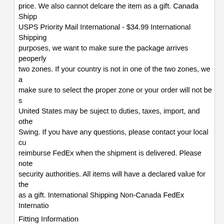price. We also cannot delcare the item as a gift. Canada Shipp... USPS Priority Mail International - $34.99 International Shipping... purposes, we want to make sure the package arrives peoperly... two zones. If your country is not in one of the two zones, we a... make sure to select the proper zone or your order will not be s... United States may be suject to duties, taxes, import, and othe... Swing. If you have any questions, please contact your local cu... reimburse FedEx when the shipment is delivered. Please note... security authorities. All items will have a declared value for the... as a gift. International Shipping Non-Canada FedEx Internatio...
Fitting Information
Every golfer wants to improve their golf game, hit it longer, hit i... making this a reality. The swing you take and the club you swi... swing dynamics to consistently deliver your best on-course res... having their equipment optimized to their unique swing. In mos... Swing, we offer a very unique opportunity to have a fitting done... after the purchase of your item(s) and speak with one of our ce...
Explanation of Conditions
| Condition | Description |
| --- | --- |
| Brand New | The club(s) is brand new and has never been hi... |
| Mint | Shows virtually no traces of wear and has been... have been made. |
| Above | Clubs have been played less than 10 rounds an... |